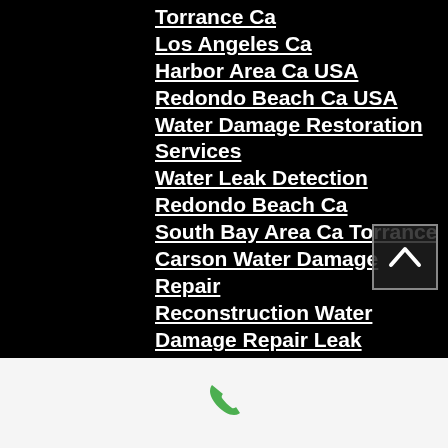Torrance Ca
Los Angeles Ca
Harbor Area Ca USA
Redondo Beach Ca USA
Water Damage Restoration Services
Water Leak Detection Redondo Beach Ca
South Bay Area Ca Torrance
Carson Water Damage Repair
Reconstruction Water Damage Repair Leak Detection
Water Damage Restoration Redondo Beach Lomita Harbor City
Redondo Beach Lomita Rolling Hills Estates Ca
Redondo Beach Carson Lomita Harbor City Ca
South Bay Area Redondo Beach Ca
Harbor Area Redondo Beach Ca USA
[Figure (other): Green phone icon in white/grey bottom bar]